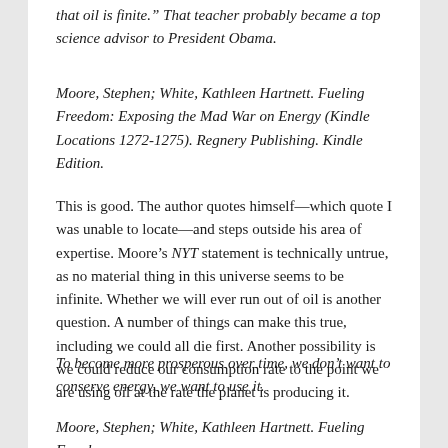that oil is finite.” That teacher probably became a top science advisor to President Obama.
Moore, Stephen; White, Kathleen Hartnett. Fueling Freedom: Exposing the Mad War on Energy (Kindle Locations 1272-1275). Regnery Publishing. Kindle Edition.
This is good. The author quotes himself—which quote I was unable to locate—and steps outside his area of expertise. Moore’s NYT statement is technically untrue, as no material thing in this universe seems to be infinite. Whether we will ever run out of oil is another question. A number of things can make this true, including we could all die first. Another possibility is we could reduce our consumption rate to the point we are using oil at the rate the planet is producing it.
To become more prosperous over time, we don’t want to conserve energy, we want to use it.
Moore, Stephen; White, Kathleen Hartnett. Fueling Freedom: